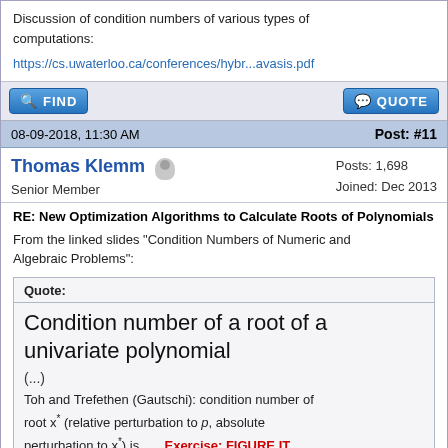Discussion of condition numbers of various types of computations:
https://cs.uwaterloo.ca/conferences/hybr...avasis.pdf
FIND   QUOTE
08-09-2018, 11:30 AM   Post: #11
Thomas Klemm   Posts: 1,698   Joined: Dec 2013   Senior Member
RE: New Optimization Algorithms to Calculate Roots of Polynomials
From the linked slides "Condition Numbers of Numeric and Algebraic Problems":
Quote: Condition number of a root of a univariate polynomial (...) Toh and Trefethen (Gautschi): condition number of root x* (relative perturbation to p, absolute perturbation to x*) is . . . Exercise: FIGURE IT